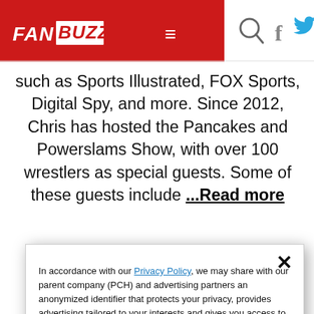FANBUZZ
such as Sports Illustrated, FOX Sports, Digital Spy, and more. Since 2012, Chris has hosted the Pancakes and Powerslams Show, with over 100 wrestlers as special guests. Some of these guests include ...Read more
In accordance with our Privacy Policy, we may share with our parent company (PCH) and advertising partners an anonymized identifier that protects your privacy, provides advertising tailored to your interests and gives you access to advertising supported content. Data collected on one of our sites may be used on our other owned and operated sites, which sites are identified in our Privacy Policy. All of our sites are governed by the same Privacy Policy, and by proceeding to access this site, you are consenting to that Privacy Policy.